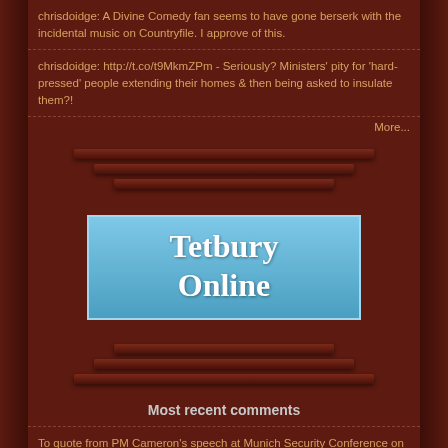chrisdoidge: A Divine Comedy fan seems to have gone berserk with the incidental music on Countryfile. I approve of this.
chrisdoidge: http://t.co/t9MkmZPm - Seriously? Ministers' pity for 'hard-pressed' people extending their homes & then being asked to insulate them?!
More...
[Figure (logo): Tetbury Online logo — white serif text on a blue gradient rounded rectangle]
Most recent comments
To quote from PM Cameron's speech at Munich Security Conference on the failure of State Multicultura… by on this entry
Not sure whether their installation can do that (though I assume it will), but I personally have a D… by Pierre on this entry